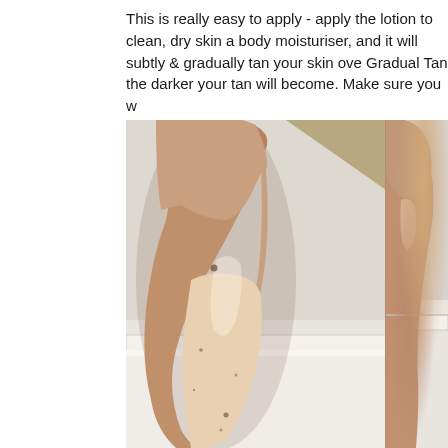This is really easy to apply - apply the lotion to clean, dry skin a body moisturiser, and it will subtly & gradually tan your skin ove Gradual Tan, the darker your tan will become. Make sure you w
[Figure (photo): Two side-by-side photos of a person's arm and hand showing a gradual self-tan effect. The left image shows a tanned forearm and hand against a light wall background with baseboard visible. The right image is partially cut showing a similarly tanned arm.]